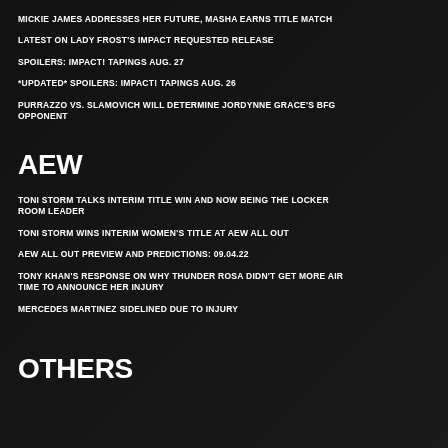MICKIE JAMES ADDRESSES HER FUTURE, MASHA EARNS TITLE MATCH
LATEST ON LADY FROST'S IMPACT REQUESTED RELEASE
SPOILERS: IMPACT! TAPINGS AUG. 27
*UPDATED* SPOILERS: IMPACT! TAPINGS AUG. 26
PURRAZZO VS. SLAMOVICH WILL DETERMINE JORDYNNE GRACE'S BFG OPPONENT
AEW
TONI STORM TALKS INTERIM TITLE WIN AND NOW BEING THE LOCKER ROOM LEADER
TONI STORM WINS INTERIM WOMEN'S TITLE AT AEW ALL OUT
AEW ALL OUT PREVIEW AND PREDICTIONS: 09.04.22
TONY KHAN'S RESPONSE ON WHY THUNDER ROSA DIDN'T GET MORE AIR TIME TO ANNOUNCE HER INJURY
MERCEDES MARTINEZ SIDELINED DUE TO INJURY
OTHERS